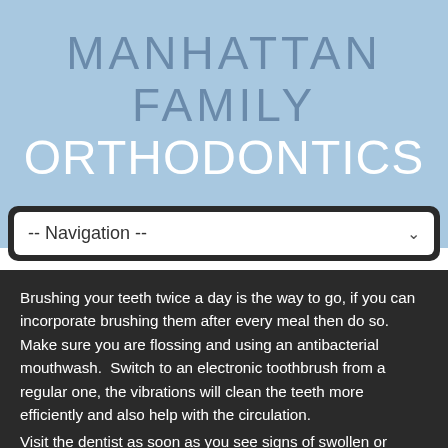MANHATTAN FAMILY ORTHODONTICS
[Figure (screenshot): Navigation dropdown menu with '--Navigation--' placeholder text and a chevron icon, styled with a dark rounded border]
Brushing your teeth twice a day is the way to go, if you can incorporate brushing them after every meal then do so. Make sure you are flossing and using an antibacterial mouthwash.  Switch to an electronic toothbrush from a regular one, the vibrations will clean the teeth more efficiently and also help with the circulation.
Visit the dentist as soon as you see signs of swollen or